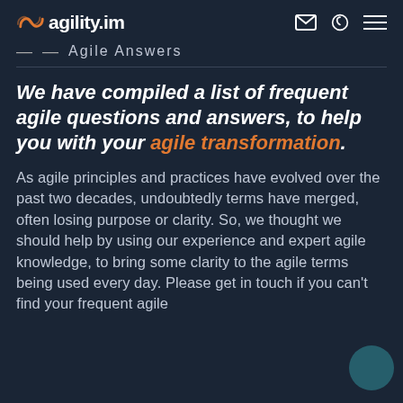agility.im
Agile Answers
We have compiled a list of frequent agile questions and answers, to help you with your agile transformation.
As agile principles and practices have evolved over the past two decades, undoubtedly terms have merged, often losing purpose or clarity. So, we thought we should help by using our experience and expert agile knowledge, to bring some clarity to the agile terms being used every day. Please get in touch if you can't find your frequent agile